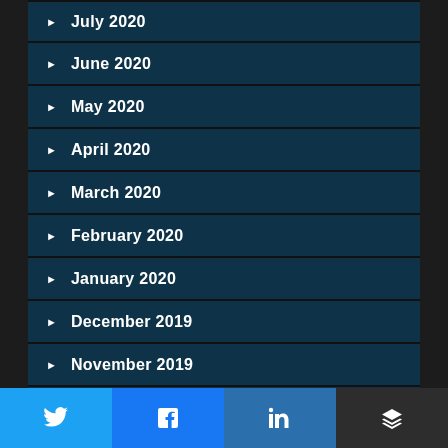July 2020
June 2020
May 2020
April 2020
March 2020
February 2020
January 2020
December 2019
November 2019
October 2019
September 2019
[Figure (infographic): Social share buttons: Twitter, Facebook, LinkedIn, Layers/Buffer]